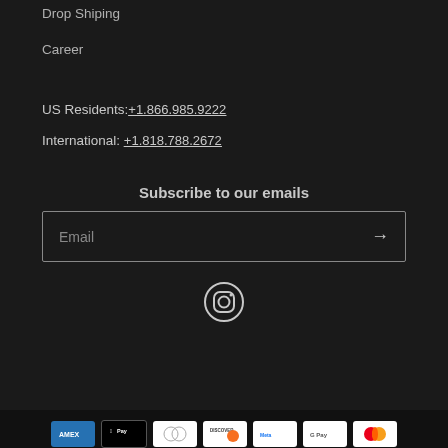Drop Shiping
Career
US Residents: +1.866.985.9222
International: +1.818.788.2672
Subscribe to our emails
Email
[Figure (logo): Instagram icon — circle with rounded-square camera outline]
[Figure (other): Payment method badges: American Express, Apple Pay, Diners Club, Discover, Meta Pay, Google Pay, Mastercard]